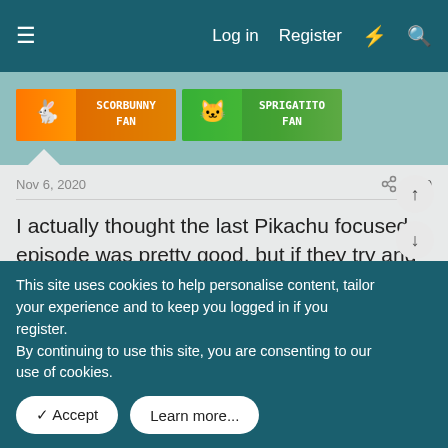Log in  Register
[Figure (illustration): Scorbunny Fan and Sprigatito Fan pixel art badges]
Nov 6, 2020   #10
I actually thought the last Pikachu focused episode was pretty good, but if they try and pull another "will Pikachu evolve?!" stunt that's gonna be annoying. Once per series is plenty, thank you.
PkmnTrainerV, Gw112, Panky.. and 2 others
Rainbow-Rain
LEADER OF THE INTELEON DEFENSE SQUAD
This site uses cookies to help personalise content, tailor your experience and to keep you logged in if you register.
By continuing to use this site, you are consenting to our use of cookies.
Accept   Learn more...